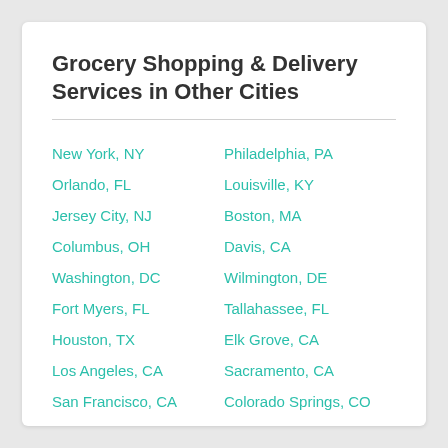Grocery Shopping & Delivery Services in Other Cities
New York, NY
Philadelphia, PA
Orlando, FL
Louisville, KY
Jersey City, NJ
Boston, MA
Columbus, OH
Davis, CA
Washington, DC
Wilmington, DE
Fort Myers, FL
Tallahassee, FL
Houston, TX
Elk Grove, CA
Los Angeles, CA
Sacramento, CA
San Francisco, CA
Colorado Springs, CO